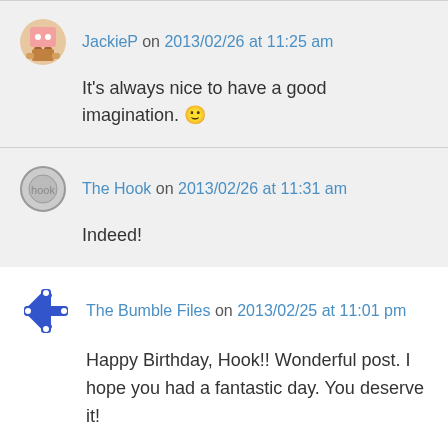JackieP on 2013/02/26 at 11:25 am
It's always nice to have a good imagination. 🙂
The Hook on 2013/02/26 at 11:31 am
Indeed!
The Bumble Files on 2013/02/25 at 11:01 pm
Happy Birthday, Hook!! Wonderful post. I hope you had a fantastic day. You deserve it!